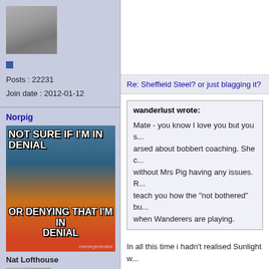[Figure (photo): User avatar photo of a man in dark clothing, top-left sidebar area]
Posts : 22231
Join date : 2012-01-12
Norpig
[Figure (photo): Fry meme image with text NOT SURE IF I'M IN DENIAL OR DENYING THAT I'M IN DENIAL]
Nat Lofthouse
[Figure (photo): User avatar photo of same man]
Posts : 16481
Re: Sheffield Steel? or just blagging it?
wanderlust wrote:
Mate - you know I love you but you s... arsed about bobbert coaching. She c... without Mrs Pig having any issues. R... teach you how the "not bothered" bu... when Wanderers are playing.
In all this time i hadn't realised Sunlight w...